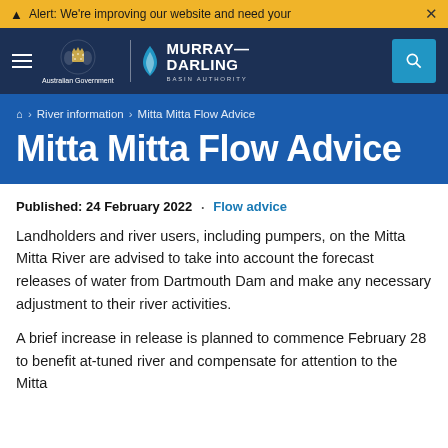Alert: We're improving our website and need your
[Figure (logo): Australian Government crest and Murray-Darling Basin Authority logo in dark navy navigation header with hamburger menu and search button]
River information > Mitta Mitta Flow Advice
Mitta Mitta Flow Advice
Published: 24 February 2022 · Flow advice
Landholders and river users, including pumpers, on the Mitta Mitta River are advised to take into account the forecast releases of water from Dartmouth Dam and make any necessary adjustment to their river activities.
A brief increase in release is planned to commence February 28 to benefit at-tuned river and compensate for attention to the Mitta